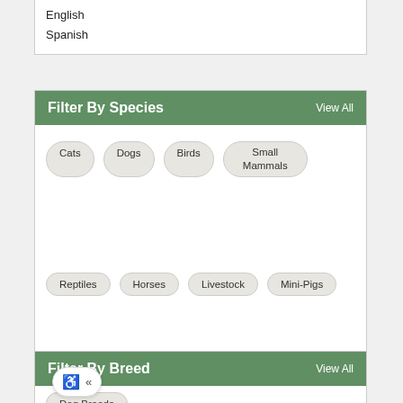English
Spanish
Filter By Species   View All
Cats
Dogs
Birds
Small Mammals
Reptiles
Horses
Livestock
Mini-Pigs
Filter By Breed   View All
Dog Breeds